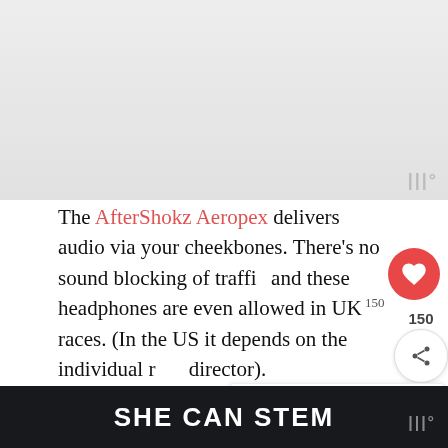[Figure (photo): Light gray/white image area at the top of the page, appears to be a mostly white or washed-out photo]
The AfterShokz Aeropex delivers audio via your cheekbones. There’s no sound blocking of traffic and these headphones are even allowed in UK races. (In the US it depends on the individual race director).
Waterproof, great sound quality, and really lic...
SHE CAN STEM